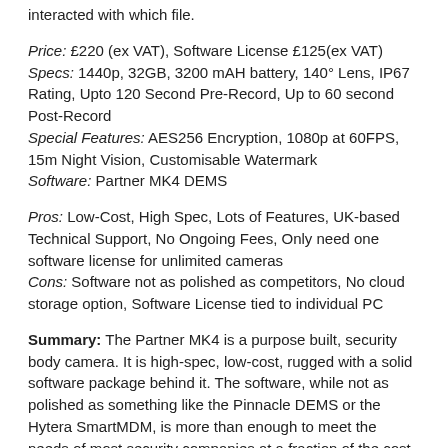interacted with which file.
Price: £220 (ex VAT), Software License £125(ex VAT)
Specs: 1440p, 32GB, 3200 mAH battery, 140° Lens, IP67 Rating, Upto 120 Second Pre-Record, Up to 60 second Post-Record
Special Features: AES256 Encryption, 1080p at 60FPS, 15m Night Vision, Customisable Watermark
Software: Partner MK4 DEMS
Pros: Low-Cost, High Spec, Lots of Features, UK-based Technical Support, No Ongoing Fees, Only need one software license for unlimited cameras
Cons: Software not as polished as competitors, No cloud storage option, Software License tied to individual PC
Summary: The Partner MK4 is a purpose built, security body camera. It is high-spec, low-cost, rugged with a solid software package behind it. The software, while not as polished as something like the Pinnacle DEMS or the Hytera SmartMDM, is more than enough to meet the needs of most security companies at a fraction of the cost. The MK4 also is fully supported by the